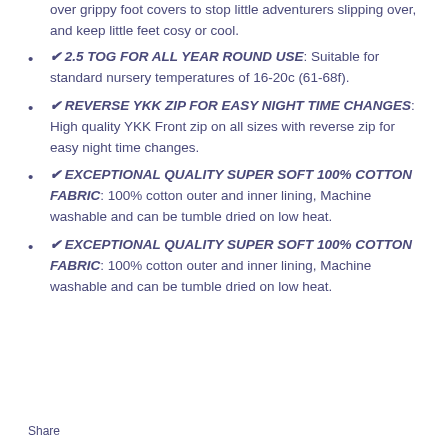over grippy foot covers to stop little adventurers slipping over, and keep little feet cosy or cool.
✔ 2.5 TOG FOR ALL YEAR ROUND USE: Suitable for standard nursery temperatures of 16-20c (61-68f).
✔ REVERSE YKK ZIP FOR EASY NIGHT TIME CHANGES: High quality YKK Front zip on all sizes with reverse zip for easy night time changes.
✔ EXCEPTIONAL QUALITY SUPER SOFT 100% COTTON FABRIC: 100% cotton outer and inner lining, Machine washable and can be tumble dried on low heat.
✔ EXCEPTIONAL QUALITY SUPER SOFT 100% COTTON FABRIC: 100% cotton outer and inner lining, Machine washable and can be tumble dried on low heat.
Share